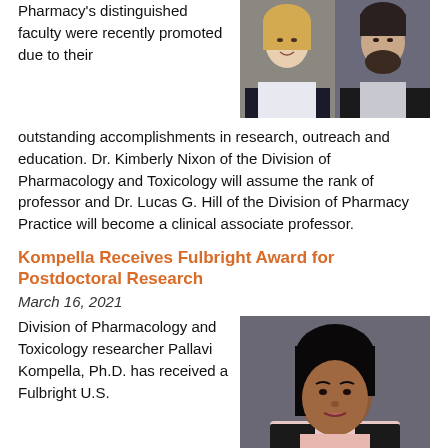Pharmacy's distinguished faculty were recently promoted due to their outstanding accomplishments in research, outreach and education. Dr. Kimberly Nixon of the Division of Pharmacology and Toxicology will assume the rank of professor and Dr. Lucas G. Hill of the Division of Pharmacy Practice will become a clinical associate professor.
[Figure (photo): Two professional headshots side by side: a woman with blonde hair on the left and a man with a beard on the right, both in professional attire.]
Kompella Receives Fulbright Award for Postdoctoral Research
March 16, 2021
Division of Pharmacology and Toxicology researcher Pallavi Kompella, Ph.D. has received a Fulbright U.S. Scholar Program award to research at the Biomedical Research Institute of Málaga in Spain.
[Figure (photo): Professional headshot of a woman with dark hair, wearing a light pink blazer, against a gray background.]